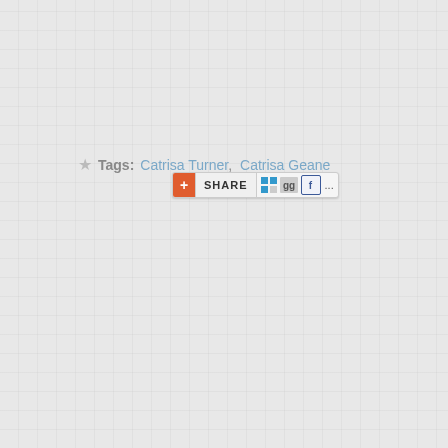[Figure (screenshot): A social share widget button showing a red plus icon, SHARE text, and social media icons (delicious, digg, facebook) with a '...' more button]
★ Tags: Catrisa Turner, Catrisa Geane